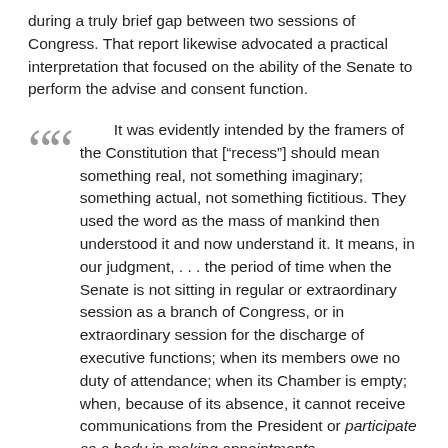during a truly brief gap between two sessions of Congress. That report likewise advocated a practical interpretation that focused on the ability of the Senate to perform the advise and consent function.
It was evidently intended by the framers of the Constitution that ["recess"] should mean something real, not something imaginary; something actual, not something fictitious. They used the word as the mass of mankind then understood it and now understand it. It means, in our judgment, . . . the period of time when the Senate is not sitting in regular or extraordinary session as a branch of Congress, or in extraordinary session for the discharge of executive functions; when its members owe no duty of attendance; when its Chamber is empty; when, because of its absence, it cannot receive communications from the President or participate as a body in making appointments.